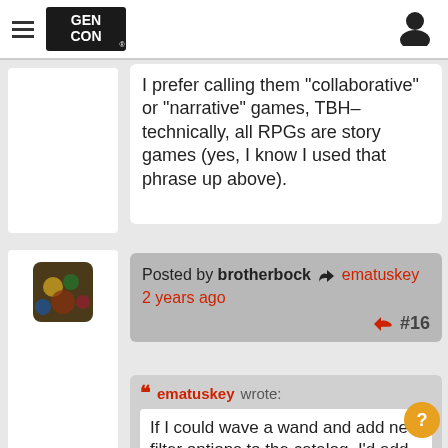GEN CON
I prefer calling them "collaborative" or "narrative" games, TBH– technically, all RPGs are story games (yes, I know I used that phrase up above).
Posted by brotherbock → ematuskey
2 years ago
#16
ematuskey wrote:
If I could wave a wand and add new filter options to the catalog, I'd add two: Setting, for the type of world the players are playing in (ie, fantasy, historical, future/scifi, contemporary, etc), and Genre, for the "tone" of the game (ie, Adventure, Horror, Comedy, Mystery, etc). But even those can be